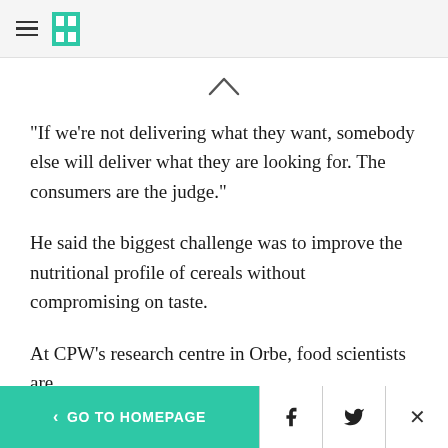HuffPost navigation logo
"If we're not delivering what they want, somebody else will deliver what they are looking for. The consumers are the judge."
He said the biggest challenge was to improve the nutritional profile of cereals without compromising on taste.
At CPW's research centre in Orbe, food scientists are
< GO TO HOMEPAGE